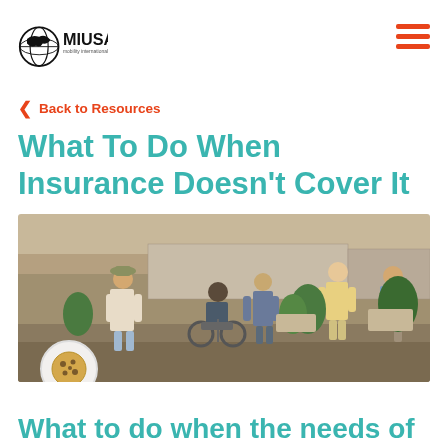MIUSA mobility international usa
Back to Resources
What To Do When Insurance Doesn't Cover It
[Figure (photo): Group of young people walking on a path, including a person in a wheelchair, in what appears to be an outdoor setting in Asia. Several participants of diverse backgrounds are visible.]
What to do when the needs of a participant with a disability is not